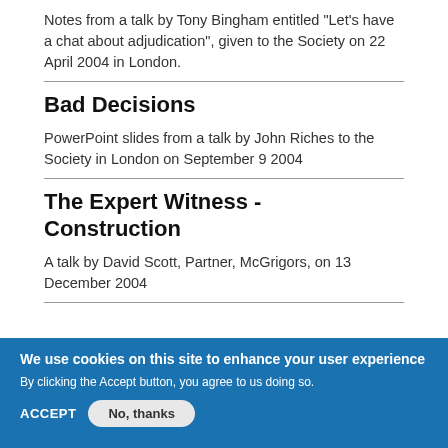Notes from a talk by Tony Bingham entitled "Let's have a chat about adjudication", given to the Society on 22 April 2004 in London.
Bad Decisions
PowerPoint slides from a talk by John Riches to the Society in London on September 9 2004
The Expert Witness - Construction
A talk by David Scott, Partner, McGrigors, on 13 December 2004
We use cookies on this site to enhance your user experience
By clicking the Accept button, you agree to us doing so.
ACCEPT   No, thanks